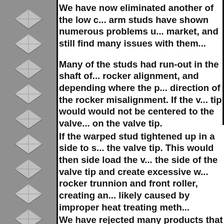We have now eliminated another of the low c... arm studs have shown numerous problems u... market, and still find many issues with them...
Many of the studs had run-out in the shaft of... rocker alignment, and depending where the p... direction of the rocker misalignment. If the v... tip would would not be centered to the valve... on the valve tip.
If the warped stud tightened up in a side to s... the valve tip. This would then side load the v... the side of the valve tip and create excessive w... rocker trunnion and front roller, creating an... likely caused by improper heat treating meth...
We have rejected many products that are outr... other sellers offering those same exact product... Studs and guide plates are NOT included. Oth...